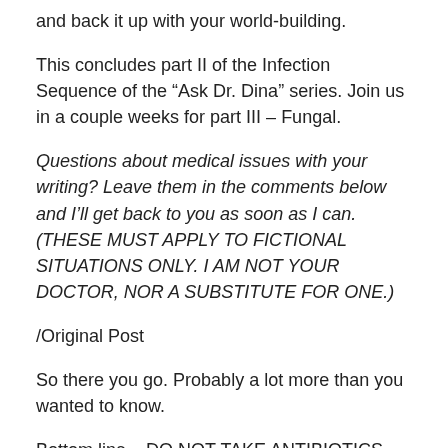and back it up with your world-building.
This concludes part II of the Infection Sequence of the “Ask Dr. Dina” series. Join us in a couple weeks for part III – Fungal.
Questions about medical issues with your writing? Leave them in the comments below and I’ll get back to you as soon as I can. (THESE MUST APPLY TO FICTIONAL SITUATIONS ONLY. I AM NOT YOUR DOCTOR, NOR A SUBSTITUTE FOR ONE.)
/Original Post
So there you go. Probably a lot more than you wanted to know.
Bottom line – DO NOT TAKE ANTIBIOTICS FOR